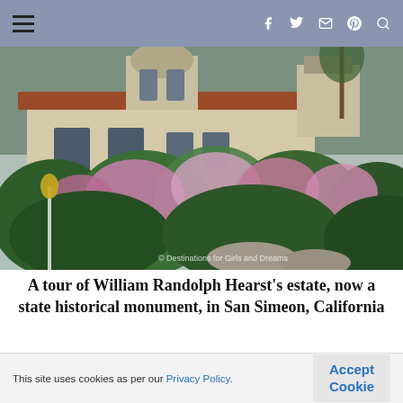Navigation bar with hamburger menu and social icons (f, twitter, email, pinterest, search)
[Figure (photo): Exterior view of Hearst Castle showing Spanish Colonial Revival architecture with red tile roof, ornate towers, and lush flowering gardens in the foreground. Watermark: © Destinations for Girls and Dreams]
A tour of William Randolph Hearst's estate, now a state historical monument, in San Simeon, California
Updated May 2022: After a two-year closure due to
This site uses cookies as per our Privacy Policy.
Accept Cookie